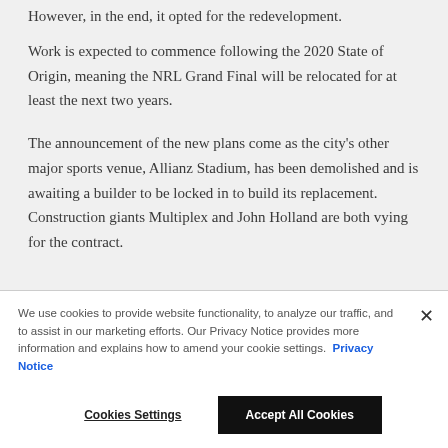However, in the end, it opted for the redevelopment.
Work is expected to commence following the 2020 State of Origin, meaning the NRL Grand Final will be relocated for at least the next two years.
The announcement of the new plans come as the city's other major sports venue, Allianz Stadium, has been demolished and is awaiting a builder to be locked in to build its replacement. Construction giants Multiplex and John Holland are both vying for the contract.
We use cookies to provide website functionality, to analyze our traffic, and to assist in our marketing efforts. Our Privacy Notice provides more information and explains how to amend your cookie settings. Privacy Notice
Cookies Settings
Accept All Cookies